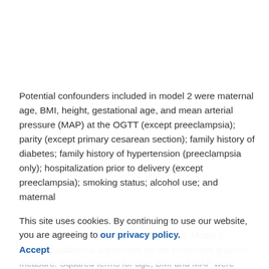Potential confounders included in model 2 were maternal age, BMI, height, gestational age, and mean arterial pressure (MAP) at the OGTT (except preeclampsia); parity (except primary cesarean section); family history of diabetes; family history of hypertension (preeclampsia only); hospitalization prior to delivery (except preeclampsia); smoking status; alcohol use; and maternal urinary tract infection (preeclampsia only). Model 3 included additional adjustment by the composite glucose measure. Squared terms for age, BMI and MAP were prescreened for possible inclusion in model 2 and model 3.
This site uses cookies. By continuing to use our website, you are agreeing to our privacy policy. Accept